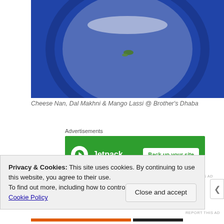[Figure (photo): Close-up photo of a blue plate/bowl with a small garnish, likely Indian food setting at Brother's Dhaba restaurant]
Cheese Nan, Dal Makhni & Mango Lassi @ Brother's Dhaba
[Figure (other): Jetpack advertisement banner with green background showing 'Back up your site' button]
Before I went anywhere, my first order of the day was to
Privacy & Cookies: This site uses cookies. By continuing to use this website, you agree to their use.
To find out more, including how to control cookies, see here: Cookie Policy